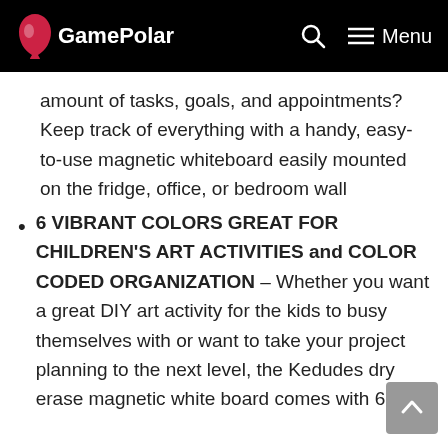GamePolar
amount of tasks, goals, and appointments? Keep track of everything with a handy, easy-to-use magnetic whiteboard easily mounted on the fridge, office, or bedroom wall
6 VIBRANT COLORS GREAT FOR CHILDREN'S ART ACTIVITIES and COLOR CODED ORGANIZATION – Whether you want a great DIY art activity for the kids to busy themselves with or want to take your project planning to the next level, the Kedudes dry erase magnetic white board comes with 6